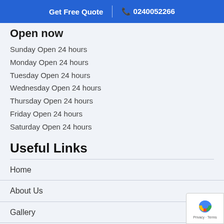Get Free Quote | 0240052266
Open Now
Sunday Open 24 hours
Monday Open 24 hours
Tuesday Open 24 hours
Wednesday Open 24 hours
Thursday Open 24 hours
Friday Open 24 hours
Saturday Open 24 hours
Useful Links
Home
About Us
Gallery
Testimonials
FAQs